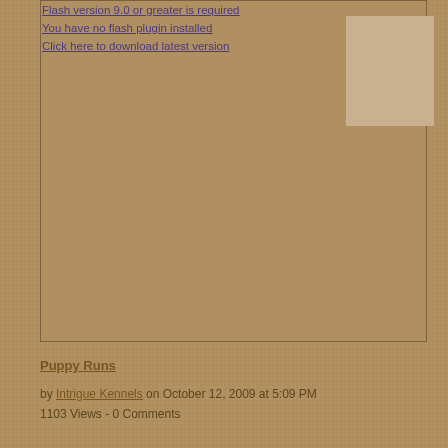Flash version 9.0 or greater is required
You have no flash plugin installed
Click here to download latest version
[Figure (other): Flash player placeholder area with embedded image thumbnail in top right corner]
Puppy Runs
by Intrigue Kennels on October 12, 2009 at 5:09 PM
1103 Views - 0 Comments